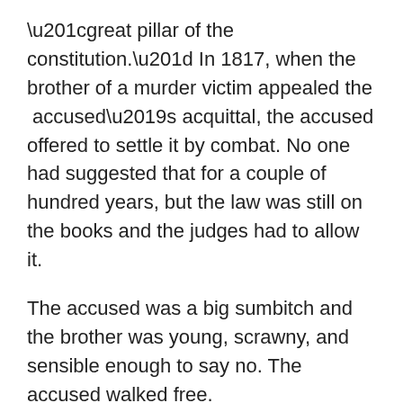“great pillar of the constitution.” In 1817, when the brother of a murder victim appealed the accused’s acquittal, the accused offered to settle it by combat. No one had suggested that for a couple of hundred years, but the law was still on the books and the judges had to allow it.
The accused was a big sumbitch and the brother was young, scrawny, and sensible enough to say no. The accused walked free.
In 1819, Parliament finally abolished trial by combat.
Which didn’t stop a man from challenging the Driver and Vehicle Licensing Agency to pick a champion who’d fight him to the death over a £25 fine. He offered a choice of samurai swords, heavy hammers, or gurkha knives. I’d love to have been around when someone opened that